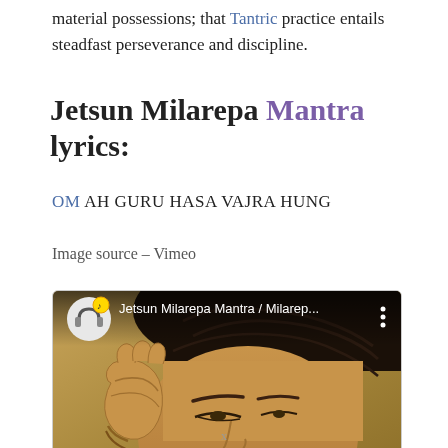material possessions; that Tantric practice entails steadfast perseverance and discipline.
Jetsun Milarepa Mantra lyrics:
OM AH GURU HASA VAJRA HUNG
Image source – Vimeo
[Figure (screenshot): Video thumbnail for 'Jetsun Milarepa Mantra / Milarep...' showing a painting of Milarepa with hand cupped to ear, with a music emoji icon overlay at top left and three-dot menu at top right.]